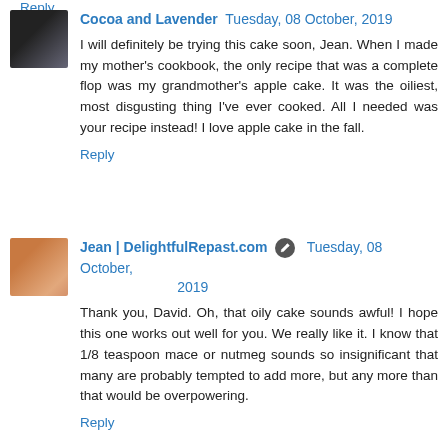Reply
Cocoa and Lavender  Tuesday, 08 October, 2019
I will definitely be trying this cake soon, Jean. When I made my mother's cookbook, the only recipe that was a complete flop was my grandmother's apple cake. It was the oiliest, most disgusting thing I've ever cooked. All I needed was your recipe instead! I love apple cake in the fall.
Reply
Jean | DelightfulRepast.com  Tuesday, 08 October, 2019
Thank you, David. Oh, that oily cake sounds awful! I hope this one works out well for you. We really like it. I know that 1/8 teaspoon mace or nutmeg sounds so insignificant that many are probably tempted to add more, but any more than that would be overpowering.
Reply